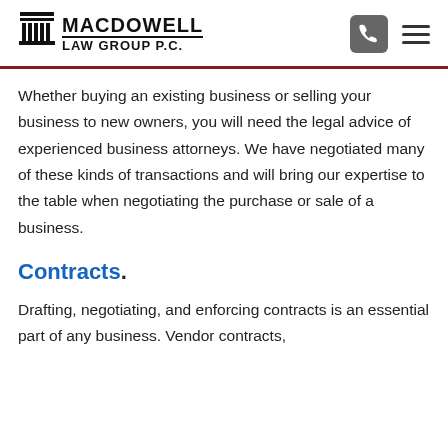MacDowell Law Group P.C.
Whether buying an existing business or selling your business to new owners, you will need the legal advice of experienced business attorneys. We have negotiated many of these kinds of transactions and will bring our expertise to the table when negotiating the purchase or sale of a business.
Contracts.
Drafting, negotiating, and enforcing contracts is an essential part of any business. Vendor contracts,